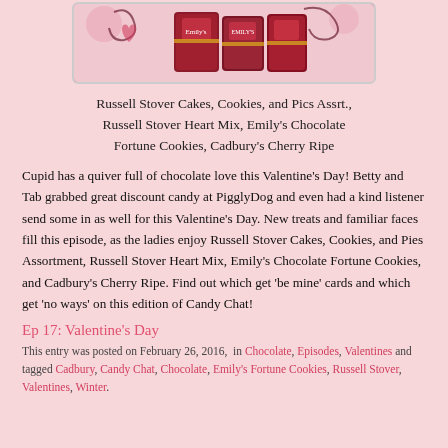[Figure (photo): Photo of chocolate candy boxes including Emily's and other Valentine's candy products with pink decorative swirls and hearts background]
Russell Stover Cakes, Cookies, and Pies Assrt., Russell Stover Heart Mix, Emily's Chocolate Fortune Cookies, Cadbury's Cherry Ripe
Cupid has a quiver full of chocolate love this Valentine's Day! Betty and Tab grabbed great discount candy at PigglyDog and even had a kind listener send some in as well for this Valentine's Day. New treats and familiar faces fill this episode, as the ladies enjoy Russell Stover Cakes, Cookies, and Pies Assortment, Russell Stover Heart Mix, Emily's Chocolate Fortune Cookies, and Cadbury's Cherry Ripe. Find out which get 'be mine' cards and which get 'no ways' on this edition of Candy Chat!
Ep 17: Valentine's Day
This entry was posted on February 26, 2016, in Chocolate, Episodes, Valentines and tagged Cadbury, Candy Chat, Chocolate, Emily's Fortune Cookies, Russell Stover, Valentines, Winter.